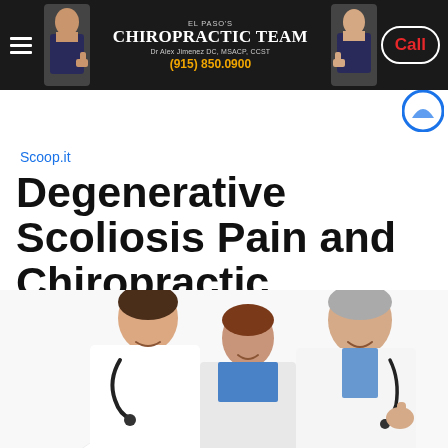El Paso's Chiropractic Team | Dr Alex Jimenez DC, MSACP, CCST | (915) 850.0900 | Call
Scoop.it
Degenerative Scoliosis Pain and Chiropractic
[Figure (photo): Three smiling medical professionals in white lab coats with stethoscopes giving thumbs up gesture]